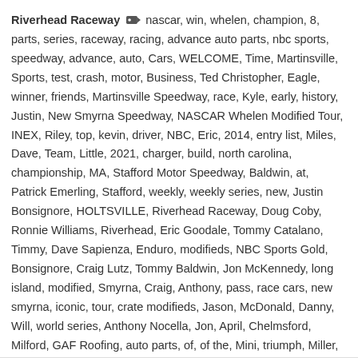Riverhead Raceway [tag icon] nascar, win, whelen, champion, 8, parts, series, raceway, racing, advance auto parts, nbc sports, speedway, advance, auto, Cars, WELCOME, Time, Martinsville, Sports, test, crash, motor, Business, Ted Christopher, Eagle, winner, friends, Martinsville Speedway, race, Kyle, early, history, Justin, New Smyrna Speedway, NASCAR Whelen Modified Tour, INEX, Riley, top, kevin, driver, NBC, Eric, 2014, entry list, Miles, Dave, Team, Little, 2021, charger, build, north carolina, championship, MA, Stafford Motor Speedway, Baldwin, at, Patrick Emerling, Stafford, weekly, weekly series, new, Justin Bonsignore, HOLTSVILLE, Riverhead Raceway, Doug Coby, Ronnie Williams, Riverhead, Eric Goodale, Tommy Catalano, Timmy, Dave Sapienza, Enduro, modifieds, NBC Sports Gold, Bonsignore, Craig Lutz, Tommy Baldwin, Jon McKennedy, long island, modified, Smyrna, Craig, Anthony, pass, race cars, new smyrna, iconic, tour, crate modifieds, Jason, McDonald, Danny, Will, world series, Anthony Nocella, Jon, April, Chelmsford, Milford, GAF Roofing, auto parts, of, of the, Mini, triumph, Miller, Christopher, Ken, Napa, Miller Lite, Advance Auto, NAPA Auto Parts, street stocks
Leave a comment